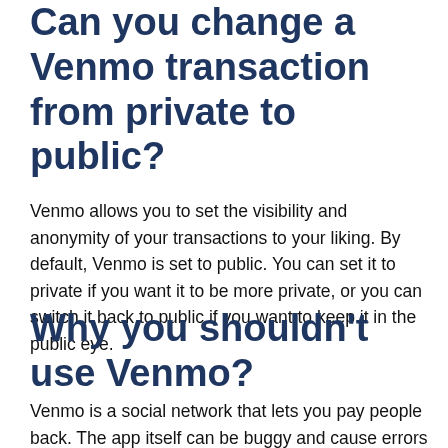Can you change a Venmo transaction from private to public?
Venmo allows you to set the visibility and anonymity of your transactions to your liking. By default, Venmo is set to public. You can set it to private if you want it to be more private, or you can switch it back to public if you want to keep it in the public eye.
Why you shouldn’t use Venmo?
Venmo is a social network that lets you pay people back. The app itself can be buggy and cause errors in transactions. It’s also not...